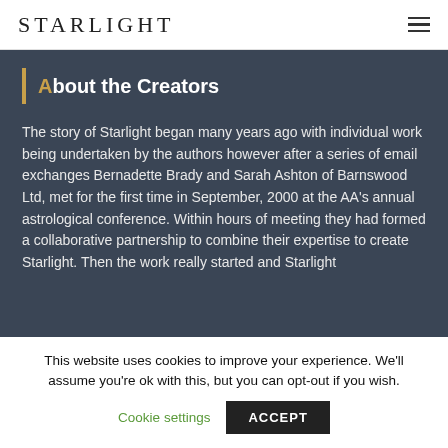STARLIGHT
About the Creators
The story of Starlight began many years ago with individual work being undertaken by the authors however after a series of email exchanges Bernadette Brady and Sarah Ashton of Barnswood Ltd, met for the first time in September, 2000 at the AA's annual astrological conference. Within hours of meeting they had formed a collaborative partnership to combine their expertise to create Starlight. Then the work really started and Starlight
This website uses cookies to improve your experience. We'll assume you're ok with this, but you can opt-out if you wish.
Cookie settings   ACCEPT